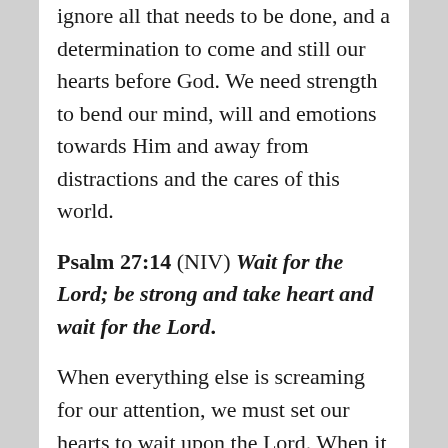ignore all that needs to be done, and a determination to come and still our hearts before God. We need strength to bend our mind, will and emotions towards Him and away from distractions and the cares of this world.
Psalm 27:14 (NIV) Wait for the Lord; be strong and take heart and wait for the Lord.
When everything else is screaming for our attention, we must set our hearts to wait upon the Lord. When it appears that it would just be easier to focus on God if we got that problem fixed first, we